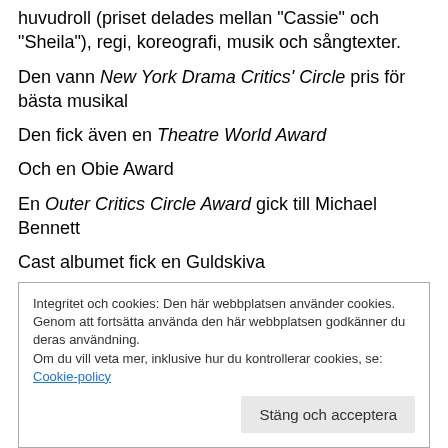huvudroll (priset delades mellan "Cassie" och "Sheila"), regi, koreografi, musik och sångtexter.
Den vann New York Drama Critics' Circle pris för bästa musikal
Den fick även en Theatre World Award
Och en Obie Award
En Outer Critics Circle Award gick till Michael Bennett
Cast albumet fick en Guldskiva
Och 1984 fick showen en special Tony för att den då blev den musikal som spelats längst på Broadway – ett rekord
Integritet och cookies: Den här webbplatsen använder cookies. Genom att fortsätta använda den här webbplatsen godkänner du deras användning. Om du vill veta mer, inklusive hur du kontrollerar cookies, se: Cookie-policy